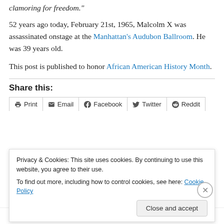clamoring for freedom."
52 years ago today, February 21st, 1965, Malcolm X was assassinated onstage at the Manhattan's Audubon Ballroom. He was 39 years old.
This post is published to honor African American History Month.
Share this:
Print | Email | Facebook | Twitter | Reddit
Privacy & Cookies: This site uses cookies. By continuing to use this website, you agree to their use.
To find out more, including how to control cookies, see here: Cookie Policy
Close and accept
Advertisements